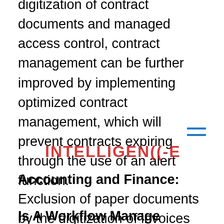digitization of contract documents and managed access control, contract management can be further improved by implementing optimized contract management, which will prevent contracts expiring through the use of an alert function.
Accounting and Finance: Exclusion of paper documents by the digitization of invoices and the implementation of optimized workflows help to accelerate processing and approvals between many departments.
Is A Workflow Manage...